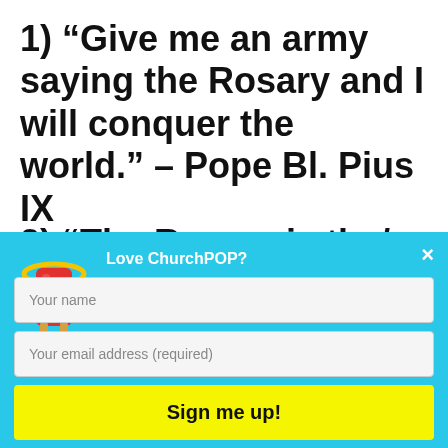1) “Give me an army saying the Rosary and I will conquer the world.” – Pope Bl. Pius IX
2) “The Rosary is the…
[Figure (screenshot): ChurchPOP email signup modal overlay on cyan/blue background. Contains ChurchPOP logo (red popsicle with halo), title 'Love ChurchPOP?', subtitle 'Get our inspiring content delivered to your inbox every morning - FREE!', two input fields (Your name, Your email address (required)), a yellow Sign me up! button, and a close X button.]